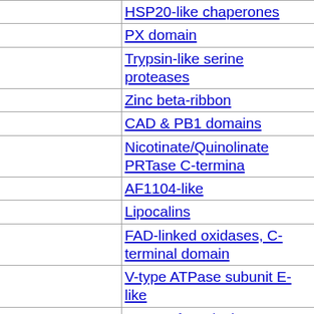|  | HSP20-like chaperones |
|  | PX domain |
|  | Trypsin-like serine proteases |
|  | Zinc beta-ribbon |
|  | CAD & PB1 domains |
|  | Nicotinate/Quinolinate PRTase C-terminal |
|  | AF1104-like |
|  | Lipocalins |
|  | FAD-linked oxidases, C-terminal domain |
|  | V-type ATPase subunit E-like |
|  | 4Fe-4S ferredoxins |
|  | Composite domain of metallo-dependent h |
|  | Electron transport accessory proteins |
|  | GYF domain |
|  | Eukaryotic RPB5 N-terminal domain |
|  | ARM repeat |
|  | FtsH protease domain-like |
|  | PreATP-grasp domain |
|  | Cation efflux protein transmembrane dom |